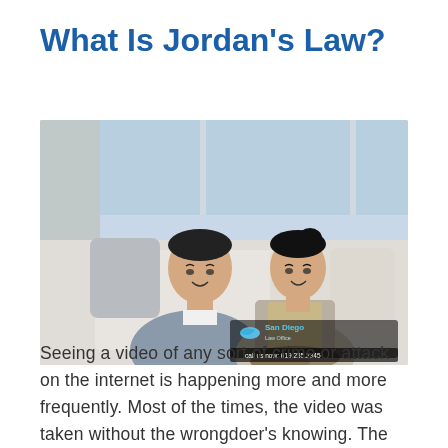What Is Jordan's Law?
[Figure (photo): A man and woman of Asian descent sitting together on a white sofa, smiling. The photo has a watermark overlay in the bottom-right corner reading 'San Diego' with a phone number 'call us now: 619.235.2345'.]
Seeing a video of any sort of crime or attack on the internet is happening more and more frequently. Most of the times, the video was taken without the wrongdoer's knowing. The video will gain